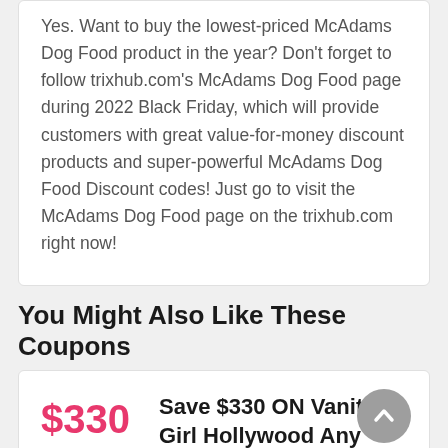Yes. Want to buy the lowest-priced McAdams Dog Food product in the year? Don't forget to follow trixhub.com's McAdams Dog Food page during 2022 Black Friday, which will provide customers with great value-for-money discount products and super-powerful McAdams Dog Food Discount codes! Just go to visit the McAdams Dog Food page on the trixhub.com right now!
You Might Also Like These Coupons
$330 Save $330 ON Vanity Girl Hollywood Any Order All Vanity Girl Hollywood coupons > Ends 22-11-22